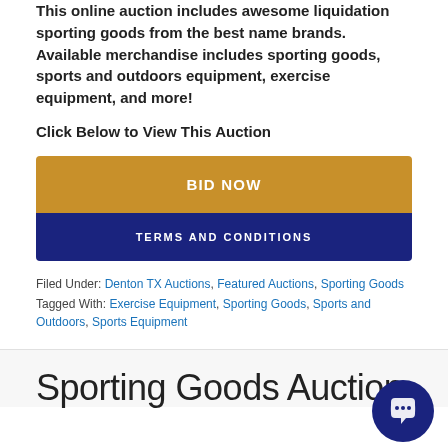This online auction includes awesome liquidation sporting goods from the best name brands. Available merchandise includes sporting goods, sports and outdoors equipment, exercise equipment, and more!
Click Below to View This Auction
[Figure (other): Two buttons: orange 'BID NOW' button and dark navy 'TERMS AND CONDITIONS' button]
Filed Under: Denton TX Auctions, Featured Auctions, Sporting Goods
Tagged With: Exercise Equipment, Sporting Goods, Sports and Outdoors, Sports Equipment
Sporting Goods Auction